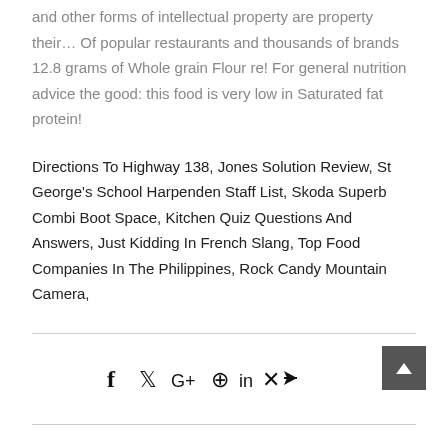and other forms of intellectual property are property their… Of popular restaurants and thousands of brands 12.8 grams of Whole grain Flour re! For general nutrition advice the good: this food is very low in Saturated fat protein!
Directions To Highway 138, Jones Solution Review, St George's School Harpenden Staff List, Skoda Superb Combi Boot Space, Kitchen Quiz Questions And Answers, Just Kidding In French Slang, Top Food Companies In The Philippines, Rock Candy Mountain Camera,
[Figure (other): Social media share icons bar: f (Facebook), bird (Twitter), G+, Pinterest, in (LinkedIn), Xing, send/email arrow icon. A dark grey scroll-to-top button with upward arrow is positioned on the right.]